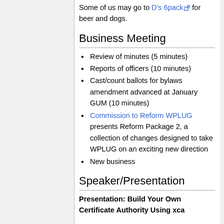Some of us may go to D's 6pack for beer and dogs.
Business Meeting
Review of minutes (5 minutes)
Reports of officers (10 minutes)
Cast/count ballots for bylaws amendment advanced at January GUM (10 minutes)
Commission to Reform WPLUG presents Reform Package 2, a collection of changes designed to take WPLUG on an exciting new direction
New business
Speaker/Presentation
Presentation: Build Your Own Certificate Authority Using xca